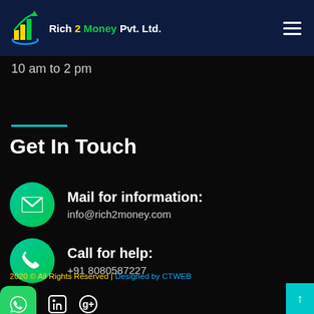[Figure (logo): Rich 2 Money Pvt. Ltd. logo with bar chart icon and blue arc]
10 am to 2 pm
Get In Touch
Mail for information:
info@rich2money.com
Call for help:
+91 8080587227
2020 © All Rights Reserved | Designed by CTWEB
[Figure (logo): Social media icons: WhatsApp, LinkedIn, Google+]